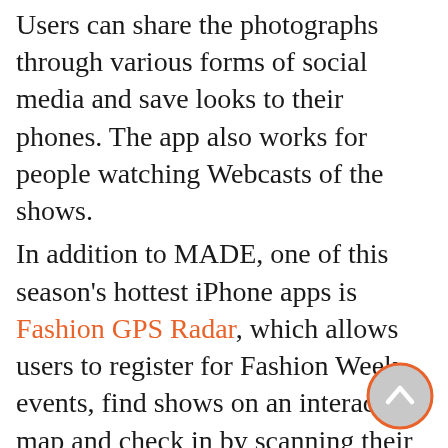Users can share the photographs through various forms of social media and save looks to their phones. The app also works for people watching Webcasts of the shows.
In addition to MADE, one of this season's hottest iPhone apps is Fashion GPS Radar, which allows users to register for Fashion Week events, find shows on an interactive map and check in by scanning their own personal barcode. The app officially launched this season and has nearly 4,500 users. Lastly one of the most popular Fashion Week apps, which is curated by editors at W Magazine is W Front Row. This